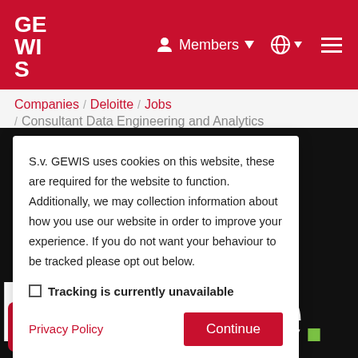[Figure (screenshot): GEWIS organization logo in white on red background in the top header navigation bar]
Members  [globe icon]  [hamburger menu]
Companies / Deloitte / Jobs / Consultant Data Engineering and Analytics
S.v. GEWIS uses cookies on this website, these are required for the website to function. Additionally, we may collection information about how you use our website in order to improve your experience. If you do not want your behaviour to be tracked please opt out below.
Tracking is currently unavailable
Privacy Policy
Continue
[Figure (logo): Deloitte logo in large white bold text on black background with green dot]